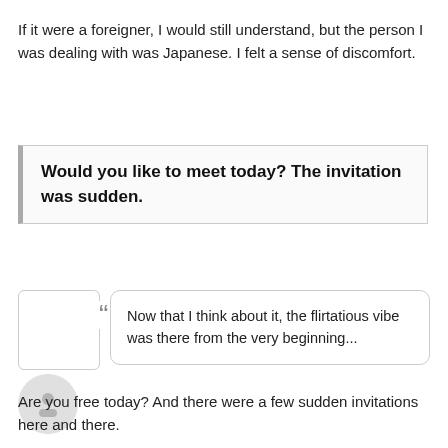If it were a foreigner, I would still understand, but the person I was dealing with was Japanese. I felt a sense of discomfort.
Would you like to meet today? The invitation was sudden.
Now that I think about it, the flirtatious vibe was there from the very beginning...
Are you free today? And there were a few sudden invitations here and there.